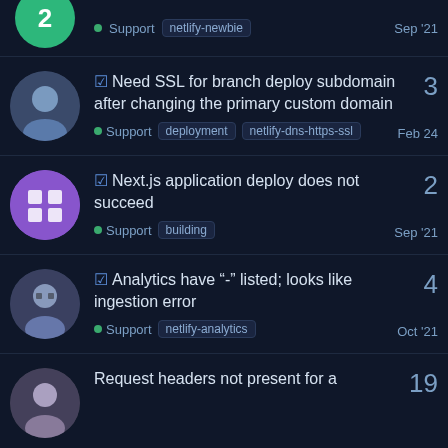Support netlify-newbie Sep '21
Need SSL for branch deploy subdomain after changing the primary custom domain — Support deployment netlify-dns-https-ssl Feb 24 — 3 replies
Next.js application deploy does not succeed — Support building Sep '21 — 2 replies
Analytics have "-" listed; looks like ingestion error — Support netlify-analytics Oct '21 — 4 replies
Request headers not present for a — 19 replies